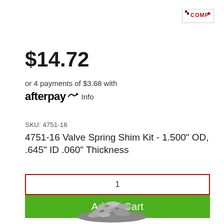[Figure (logo): COMP Cams logo in red text with checkered flag icon inside a bordered box]
$14.72
or 4 payments of $3.68 with
afterpay Info
SKU: 4751-16
4751-16 Valve Spring Shim Kit - 1.500" OD, .645" ID .060" Thickness
1
Add to Cart
[Figure (photo): Product photo showing a pile of small metal valve spring shims]